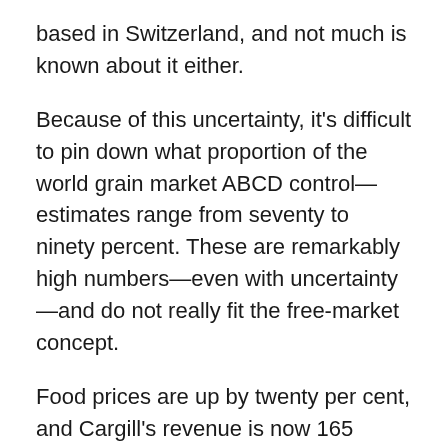based in Switzerland, and not much is known about it either.
Because of this uncertainty, it's difficult to pin down what proportion of the world grain market ABCD control—estimates range from seventy to ninety percent. These are remarkably high numbers—even with uncertainty—and do not really fit the free-market concept.
Food prices are up by twenty per cent, and Cargill's revenue is now 165 billion USD, up one third since 2018—Dreyfus revenues are about 1% of Cargill's, but it reported a significant increase in profit.
With so many people in the US and Western Europe now suffering the kind of food insecurity they're only used to seeing on TV in shows about developing nations, the pressure is rapidly mounting on ABCD.